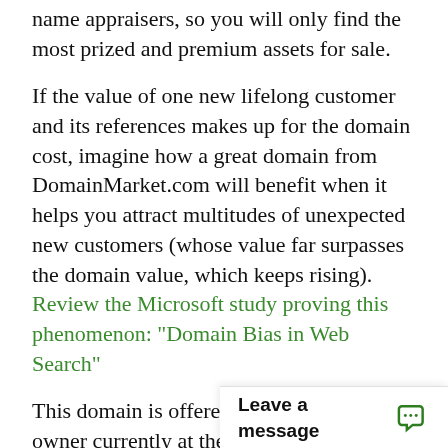name appraisers, so you will only find the most prized and premium assets for sale.
If the value of one new lifelong customer and its references makes up for the domain cost, imagine how a great domain from DomainMarket.com will benefit when it helps you attract multitudes of unexpected new customers (whose value far surpasses the domain value, which keeps rising). Review the Microsoft study proving this phenomenon: "Domain Bias in Web Search"
This domain is offered for sale by its owner currently at the "buy it now" price listed "BIN" Click here to purchase IconOfIndia.com, but could be withdrawn at any time or its price potentially substantially raised. Also, once sold, the next owner, your domain competitor, would lik... especially to his comp...